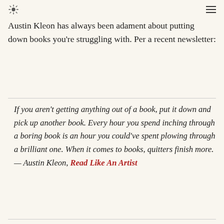☀ ≡
Austin Kleon has always been adament about putting down books you're struggling with. Per a recent newsletter:
If you aren't getting anything out of a book, put it down and pick up another book. Every hour you spend inching through a boring book is an hour you could've spent plowing through a brilliant one. When it comes to books, quitters finish more. — Austin Kleon, Read Like An Artist